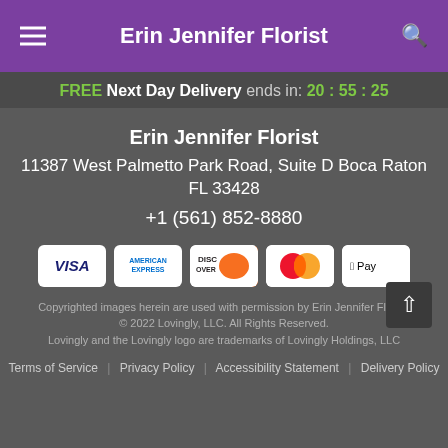Erin Jennifer Florist
FREE Next Day Delivery ends in: 20:55:25
Erin Jennifer Florist
11387 West Palmetto Park Road, Suite D Boca Raton FL 33428
+1 (561) 852-8880
[Figure (other): Payment method icons: VISA, American Express, Discover, Mastercard, Apple Pay]
Copyrighted images herein are used with permission by Erin Jennifer Florist.
© 2022 Lovingly, LLC. All Rights Reserved.
Lovingly and the Lovingly logo are trademarks of Lovingly Holdings, LLC
Terms of Service | Privacy Policy | Accessibility Statement | Delivery Policy